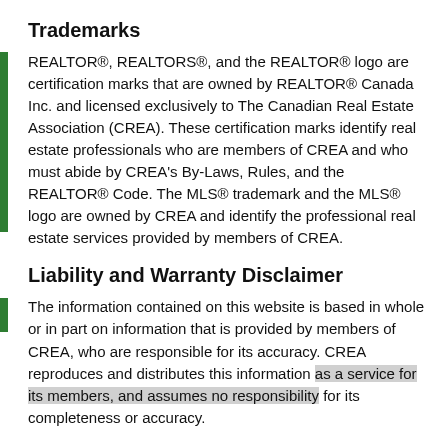Trademarks
REALTOR®, REALTORS®, and the REALTOR® logo are certification marks that are owned by REALTOR® Canada Inc. and licensed exclusively to The Canadian Real Estate Association (CREA). These certification marks identify real estate professionals who are members of CREA and who must abide by CREA's By-Laws, Rules, and the REALTOR® Code. The MLS® trademark and the MLS® logo are owned by CREA and identify the professional real estate services provided by members of CREA.
Liability and Warranty Disclaimer
The information contained on this website is based in whole or in part on information that is provided by members of CREA, who are responsible for its accuracy. CREA reproduces and distributes this information as a service for its members, and assumes no responsibility for its completeness or accuracy.